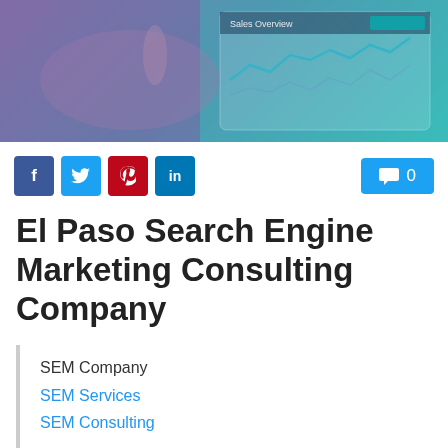[Figure (photo): Hero image showing a hand holding a stylus over a tablet displaying analytics charts with teal and purple color overlay]
f  (social share buttons: Facebook, Twitter, Pinterest, LinkedIn)  0 (comment count)
El Paso Search Engine Marketing Consulting Company
SEM Company
SEM Services
SEM Consulting